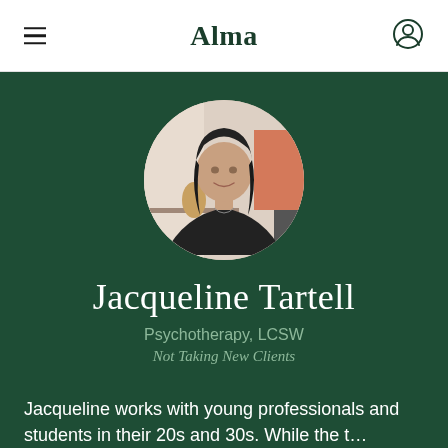Alma
[Figure (photo): Circular profile photo of Jacqueline Tartell, a woman with dark hair wearing a black top, photographed against a light neutral background with warm accent colors.]
Jacqueline Tartell
Psychotherapy, LCSW
Not Taking New Clients
Jacqueline works with young professionals and students in their 20s and 30s. While the t…